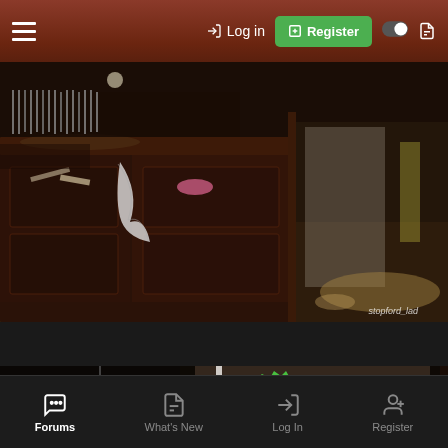≡  → Log in  ⊞ Register
[Figure (photo): Abandoned pub interior with dark wood bar counter covered in debris and rubbish. Price list signs visible. Watermark: stopford_lad]
[Figure (photo): Close-up of abandoned pub bar area showing old price signs: 'Double 1-80' on green starburst tag and '1-80' on orange starburst tag, black beer tap handles visible]
Forums  What's New  Log In  Register